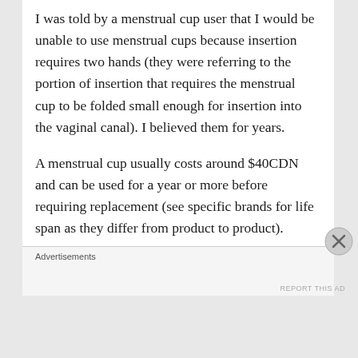I was told by a menstrual cup user that I would be unable to use menstrual cups because insertion requires two hands (they were referring to the portion of insertion that requires the menstrual cup to be folded small enough for insertion into the vaginal canal). I believed them for years.
A menstrual cup usually costs around $40CDN and can be used for a year or more before requiring replacement (see specific brands for life span as they differ from product to product).
Yet a curiosity ultimately led me to buy a Diva cup last year anyway. I can report that they can in
Advertisements